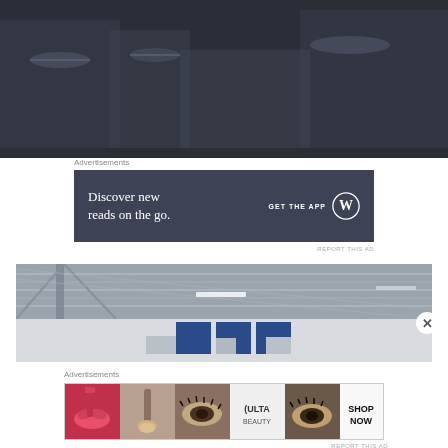[Figure (screenshot): Video player error screen with dark background showing industrial machinery. Text reads 'Player Error' and error message.]
Player error.
The player is having trouble. We'll have it back up and running as soon as possible.
Advertisements
[Figure (screenshot): WordPress app advertisement banner with dark slate background. Left text: 'Discover new reads on the go.' Right side: 'GET THE APP' with WordPress logo icon.]
REPORT THIS AD
[Figure (photo): Industrial interior photo showing metal ceiling structure, girders, and blue garage doors in background.]
Advertisements
[Figure (screenshot): ULTA Beauty advertisement banner showing cosmetics imagery - lipstick, makeup brush, eye closeup, ULTA logo, eye with lashes, and 'SHOP NOW' text on white background.]
REPORT THIS AD